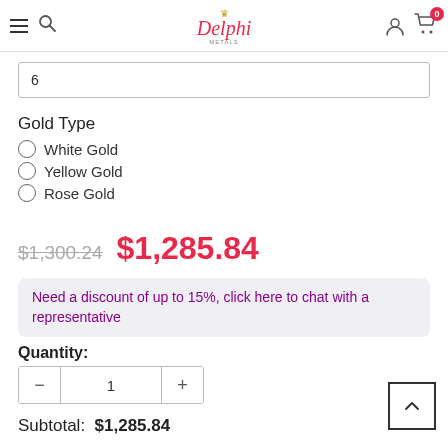Delphi Metals — navigation header with hamburger menu, search, logo, user icon, and cart (0)
6
Gold Type
White Gold
Yellow Gold
Rose Gold
$1,300.24  $1,285.84
Need a discount of up to 15%, click here to chat with a representative
Quantity: 1
Subtotal:  $1,285.84